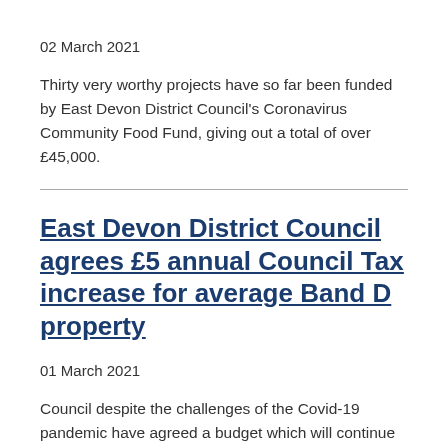02 March 2021
Thirty very worthy projects have so far been funded by East Devon District Council's Coronavirus Community Food Fund, giving out a total of over £45,000.
East Devon District Council agrees £5 annual Council Tax increase for average Band D property
01 March 2021
Council despite the challenges of the Covid-19 pandemic have agreed a budget which will continue